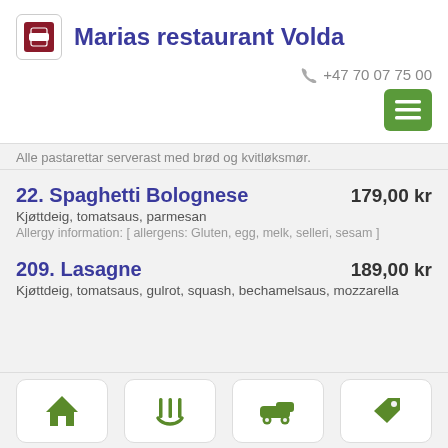Marias restaurant Volda
+47 70 07 75 00
Alle pastarettar serverast med brød og kvitløksmør.
22. Spaghetti Bolognese  179,00 kr
Kjøttdeig, tomatsaus, parmesan
Allergy information: [ allergens: Gluten, egg, melk, selleri, sesam ]
209. Lasagne  189,00 kr
Kjøttdeig, tomatsaus, gulrot, squash, bechamelsaus, mozzarella